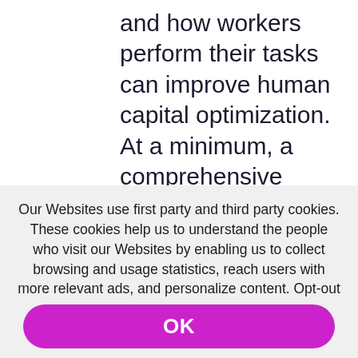and how workers perform their tasks can improve human capital optimization. At a minimum, a comprehensive approach must consider the following:
Our Websites use first party and third party cookies. These cookies help us to understand the people who visit our Websites by enabling us to collect browsing and usage statistics, reach users with more relevant ads, and personalize content. Opt-out of certain cookies and manage your cookie preferences for our Websites at any time via our Cookie Preferences tool.
Privacy Policy
OK